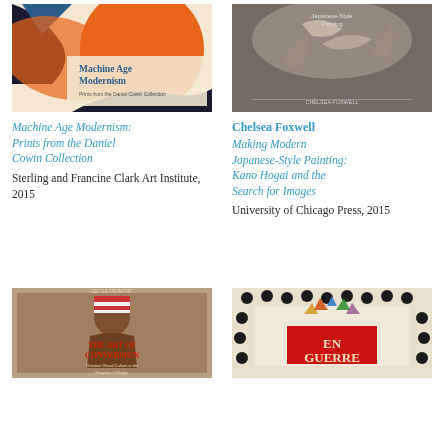[Figure (photo): Book cover for Machine Age Modernism: Prints from the Daniel Cowin Collection, showing abstract orange and black modernist print design with decorative text]
Machine Age Modernism: Prints from the Daniel Cowin Collection
Sterling and Francine Clark Art Institute, 2015
[Figure (photo): Book cover for Making Modern Japanese-Style Painting: Kano Hogai and the Search for Images by Chelsea Foxwell, dark gray cover with sepia-toned painting of birds]
Chelsea Foxwell
Making Modern Japanese-Style Painting: Kano Hogai and the Search for Images
University of Chicago Press, 2015
[Figure (photo): Book cover for The Art of Conversion: Christian Visual Culture in the Kingdom of Kongo by Cecile Fromont, showing a portrait figure with decorative headwear on brown background]
[Figure (photo): Book cover En Guerre (partially visible), showing decorative pattern with polka dots, feathers and red rectangle with text]